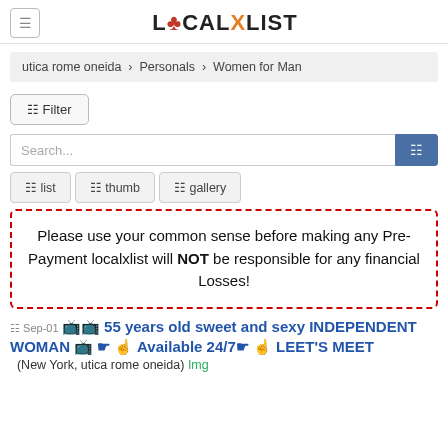LOCALXLIST
utica rome oneida › Personals › Women for Man
⊞ Filter
Search...
⊞ list   ⊞ thumb   ⊞ gallery
Please use your common sense before making any Pre-Payment localxlist will NOT be responsible for any financial Losses!
Sep-01  55 years old sweet and sexy INDEPENDENT WOMAN  Available 24/7  LEET'S MEET
(New York, utica rome oneida) Img